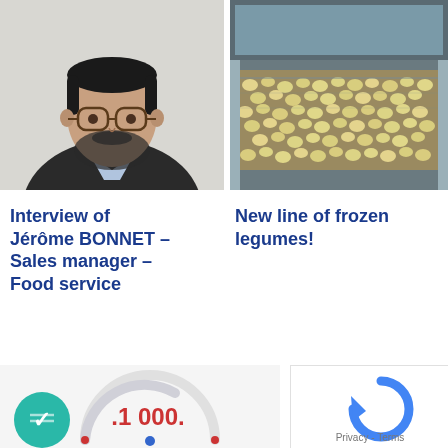[Figure (photo): Portrait photo of a middle-aged man with glasses, beard, wearing a dark jacket over a plaid shirt, light background.]
[Figure (photo): Industrial conveyor belt transporting frozen legumes (small round yellow/cream colored pieces) in a food processing facility.]
Interview of Jérôme BONNET – Sales manager – Food service
New line of frozen legumes!
[Figure (infographic): Partial infographic showing a gauge/speedometer with '1 000' text and a teal circle with a checkmark icon. Also a blue arc gauge element partially visible.]
[Figure (screenshot): Partial screenshot showing a reCAPTCHA logo and 'Privacy - Terms' text in grey on white background.]